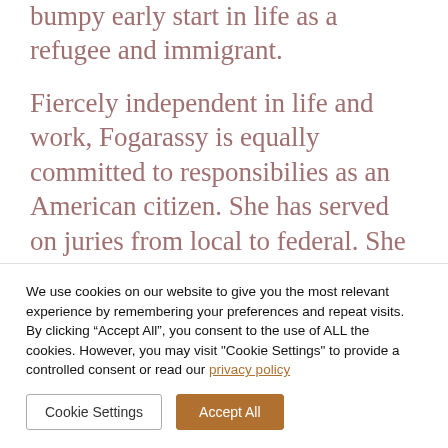bumpy early start in life as a refugee and immigrant.
Fiercely independent in life and work, Fogarassy is equally committed to responsibilies as an American citizen. She has served on juries from local to federal. She worked in multiple capacities for the 1992 US presidential election, advocated
We use cookies on our website to give you the most relevant experience by remembering your preferences and repeat visits. By clicking “Accept All”, you consent to the use of ALL the cookies. However, you may visit "Cookie Settings" to provide a controlled consent or read our privacy policy
Cookie Settings
Accept All